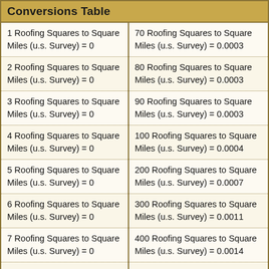| Conversions Table |  |
| --- | --- |
| 1 Roofing Squares to Square Miles (u.s. Survey) = 0 | 70 Roofing Squares to Square Miles (u.s. Survey) = 0.0003 |
| 2 Roofing Squares to Square Miles (u.s. Survey) = 0 | 80 Roofing Squares to Square Miles (u.s. Survey) = 0.0003 |
| 3 Roofing Squares to Square Miles (u.s. Survey) = 0 | 90 Roofing Squares to Square Miles (u.s. Survey) = 0.0003 |
| 4 Roofing Squares to Square Miles (u.s. Survey) = 0 | 100 Roofing Squares to Square Miles (u.s. Survey) = 0.0004 |
| 5 Roofing Squares to Square Miles (u.s. Survey) = 0 | 200 Roofing Squares to Square Miles (u.s. Survey) = 0.0007 |
| 6 Roofing Squares to Square Miles (u.s. Survey) = 0 | 300 Roofing Squares to Square Miles (u.s. Survey) = 0.0011 |
| 7 Roofing Squares to Square Miles (u.s. Survey) = 0 | 400 Roofing Squares to Square Miles (u.s. Survey) = 0.0014 |
| 8 Roofing Squares to Square Miles (u.s. Survey) = 0 | 500 Roofing Squares to Square Miles (u.s. Survey) = 0.0018 |
| 9 Roofing Squares to Square Miles (u.s. Survey) = 0 | 600 Roofing Squares to Square Miles (u.s. Survey) = 0.0022 |
| 10 Roofing Squares to Square Miles (u.s. Survey) = ... | 800 Roofing Squares to Square Miles (u.s. Survey) = 0.0031... |